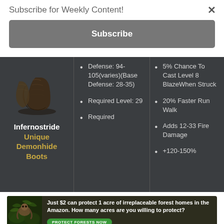Subscribe for Weekly Content!
Subscribe
[Figure (infographic): Game item card showing Infernostride Unique Demonhide Boots with stats including Defense: 94-105(varies)(Base Defense: 28-35), Required Level: 29, Required Strength, 5% Chance To Cast Level 8 Blaze When Struck, 20% Faster Run Walk, Adds 12-33 Fire Damage, +120-150%]
[Figure (illustration): Advertisement banner: Just $2 can protect 1 acre of irreplaceable forest homes in the Amazon. How many acres are you willing to protect? PROTECT FORESTS NOW]